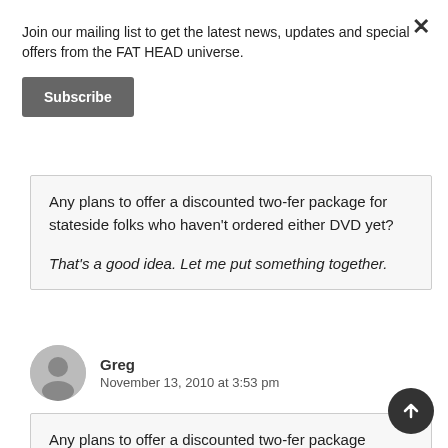Join our mailing list to get the latest news, updates and special offers from the FAT HEAD universe.
Subscribe
Any plans to offer a discounted two-fer package for stateside folks who haven't ordered either DVD yet?
That's a good idea. Let me put something together.
Greg
November 13, 2010 at 3:53 pm
Any plans to offer a discounted two-fer package